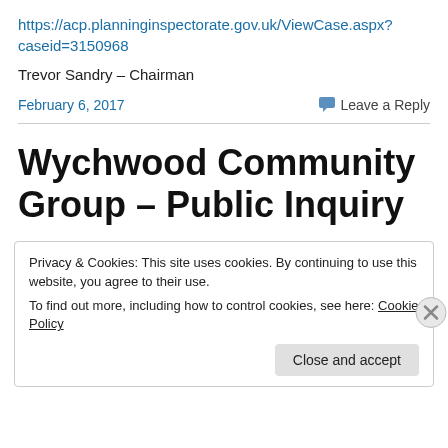https://acp.planninginspectorate.gov.uk/ViewCase.aspx?caseid=3150968
Trevor Sandry – Chairman
February 6, 2017
Leave a Reply
Wychwood Community Group – Public Inquiry
Privacy & Cookies: This site uses cookies. By continuing to use this website, you agree to their use.
To find out more, including how to control cookies, see here: Cookie Policy
Close and accept